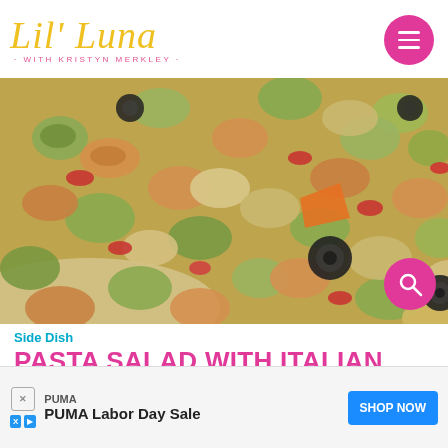Lil' Luna · WITH KRISTYN MERKLEY
[Figure (photo): Close-up photo of colorful tri-color rotini pasta salad in a bowl with black olives, tomatoes, and bell peppers]
Side Dish
PASTA SALAD WITH ITALIAN DRESSING RECIPE
Easy ... minutes to make. It's a classic side dish, perfect for